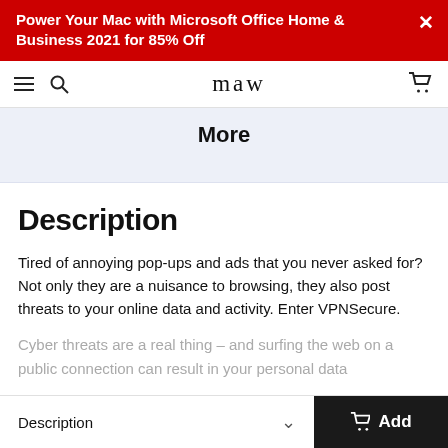Power Your Mac with Microsoft Office Home & Business 2021 for 85% Off
maw
More
Description
Tired of annoying pop-ups and ads that you never asked for? Not only they are a nuisance to browsing, they also post threats to your online data and activity. Enter VPNSecure.
Cyber threats are a real thing – and surfing the web on a public connection can result in your personal data
Description  Add